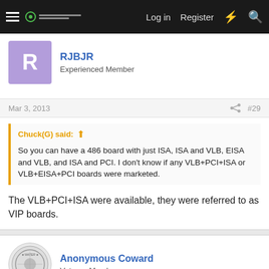Log in  Register
RJBJR
Experienced Member
Mar 3, 2013   #29
Chuck(G) said:
So you can have a 486 board with just ISA, ISA and VLB, EISA and VLB, and ISA and PCI. I don't know if any VLB+PCI+ISA or VLB+EISA+PCI boards were marketed.
The VLB+PCI+ISA were available, they were referred to as VIP boards.
Anonymous Coward
Veteran Member